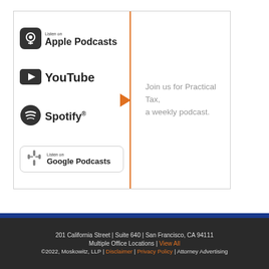[Figure (logo): Apple Podcasts badge with microphone icon and 'Listen on Apple Podcasts' text]
[Figure (logo): YouTube logo with play button icon and 'YouTube' text]
[Figure (logo): Spotify logo with circular icon and 'Spotify' text]
[Figure (logo): Google Podcasts badge with waveform icon and 'Listen on Google Podcasts' text]
Join us for Practical Tax, a weekly podcast.
201 California Street | Suite 640 | San Francisco, CA 94111
Multiple Office Locations | View All
©2022, Moskowitz, LLP | Disclaimer | Privacy Policy | Attorney Advertising